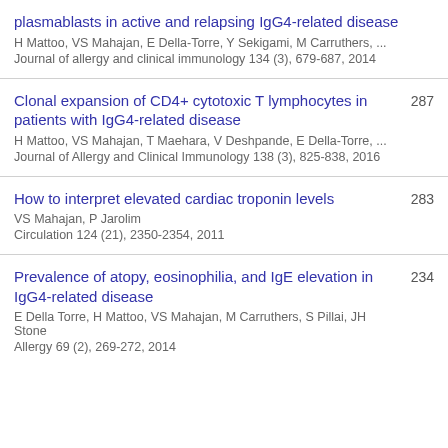plasmablasts in active and relapsing IgG4-related disease | H Mattoo, VS Mahajan, E Della-Torre, Y Sekigami, M Carruthers, ... | Journal of allergy and clinical immunology 134 (3), 679-687, 2014
Clonal expansion of CD4+ cytotoxic T lymphocytes in patients with IgG4-related disease | H Mattoo, VS Mahajan, T Maehara, V Deshpande, E Della-Torre, ... | Journal of Allergy and Clinical Immunology 138 (3), 825-838, 2016 | 287
How to interpret elevated cardiac troponin levels | VS Mahajan, P Jarolim | Circulation 124 (21), 2350-2354, 2011 | 283
Prevalence of atopy, eosinophilia, and IgE elevation in IgG4-related disease | E Della Torre, H Mattoo, VS Mahajan, M Carruthers, S Pillai, JH Stone | Allergy 69 (2), 269-272, 2014 | 234